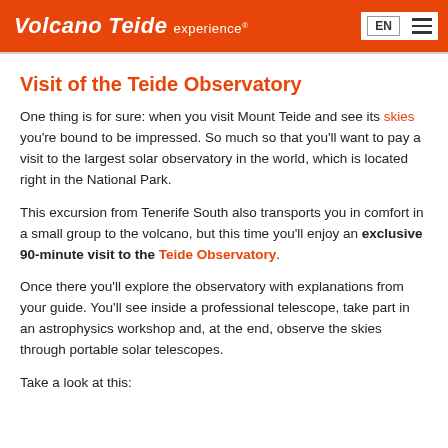Volcano Teide experience® EN ☰
Visit of the Teide Observatory
One thing is for sure: when you visit Mount Teide and see its skies you're bound to be impressed. So much so that you'll want to pay a visit to the largest solar observatory in the world, which is located right in the National Park.
This excursion from Tenerife South also transports you in comfort in a small group to the volcano, but this time you'll enjoy an exclusive 90-minute visit to the Teide Observatory.
Once there you'll explore the observatory with explanations from your guide. You'll see inside a professional telescope, take part in an astrophysics workshop and, at the end, observe the skies through portable solar telescopes.
Take a look at this: